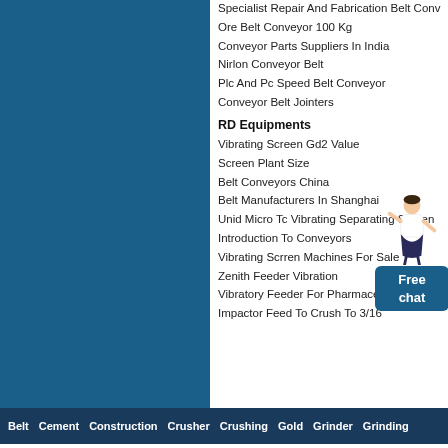Specialist Repair And Fabrication Belt Conv
Ore Belt Conveyor 100 Kg
Conveyor Parts Suppliers In India
Nirlon Conveyor Belt
Plc And Pc Speed Belt Conveyor
Conveyor Belt Jointers
RD Equipments
Vibrating Screen Gd2 Value
Screen Plant Size
Belt Conveyors China
Belt Manufacturers In Shanghai
Unid Micro Tc Vibrating Separating Screen
Introduction To Conveyors
Vibrating Scrren Machines For Sale
Zenith Feeder Vibration
Vibratory Feeder For Pharmaceutical Mach
Impactor Feed To Crush To 3/16
[Figure (illustration): Customer service representative standing, pointing, next to a blue 'Free chat' button widget]
Belt  Cement  Construction  Crusher  Crushing  Gold  Grinder  Grinding
©2009 ZENITH All Rights Reserved